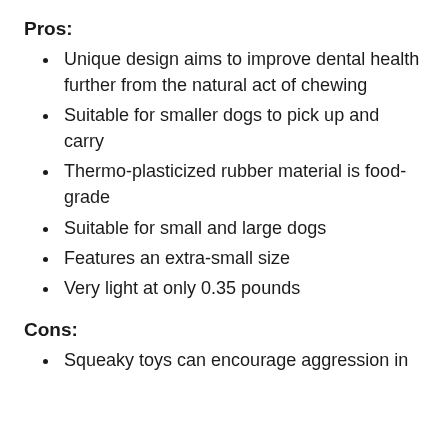Pros:
Unique design aims to improve dental health further from the natural act of chewing
Suitable for smaller dogs to pick up and carry
Thermo-plasticized rubber material is food-grade
Suitable for small and large dogs
Features an extra-small size
Very light at only 0.35 pounds
Cons:
Squeaky toys can encourage aggression in